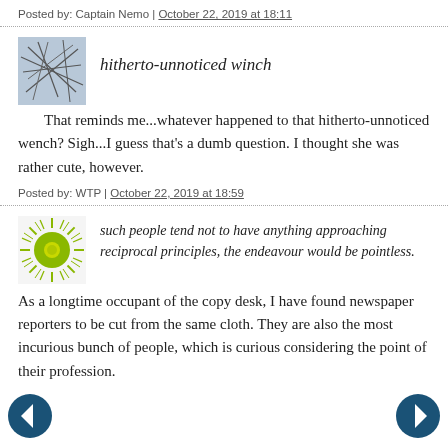Posted by: Captain Nemo | October 22, 2019 at 18:11
hitherto-unnoticed winch
That reminds me...whatever happened to that hitherto-unnoticed wench? Sigh...I guess that's a dumb question. I thought she was rather cute, however.
Posted by: WTP | October 22, 2019 at 18:59
such people tend not to have anything approaching reciprocal principles, the endeavour would be pointless.
As a longtime occupant of the copy desk, I have found newspaper reporters to be cut from the same cloth. They are also the most incurious bunch of people, which is curious considering the point of their profession.